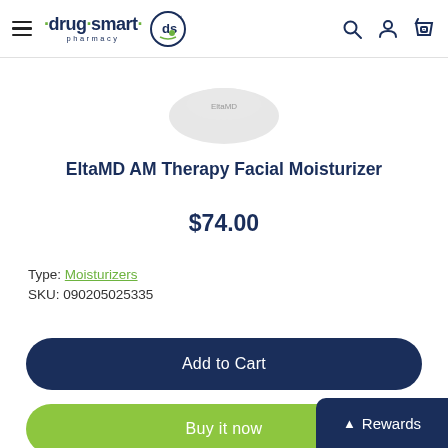drug·smart pharmacy — navigation header with logo, search, account, and cart icons
[Figure (photo): Partial view of EltaMD AM Therapy Facial Moisturizer product container, cropped at top]
EltaMD AM Therapy Facial Moisturizer
$74.00
Type: Moisturizers
SKU: 090205025335
Add to Cart
Buy it now
Rewards